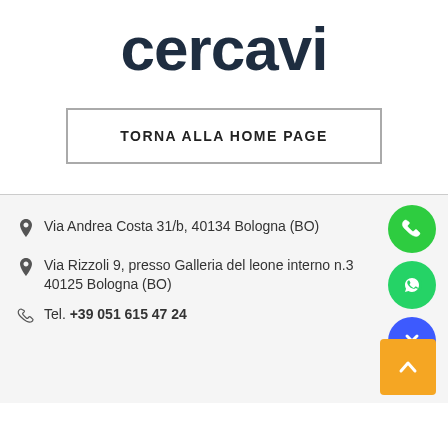cercavi
TORNA ALLA HOME PAGE
Via Andrea Costa 31/b, 40134 Bologna (BO)
Via Rizzoli 9, presso Galleria del leone interno n.3 40125 Bologna (BO)
Tel. +39 051 615 47 24